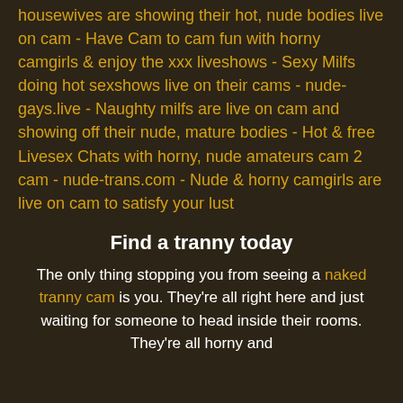housewives are showing their hot, nude bodies live on cam - Have Cam to cam fun with horny camgirls & enjoy the xxx liveshows - Sexy Milfs doing hot sexshows live on their cams - nude-gays.live - Naughty milfs are live on cam and showing off their nude, mature bodies - Hot & free Livesex Chats with horny, nude amateurs cam 2 cam - nude-trans.com - Nude & horny camgirls are live on cam to satisfy your lust
Find a tranny today
The only thing stopping you from seeing a naked tranny cam is you. They're all right here and just waiting for someone to head inside their rooms. They're all horny and